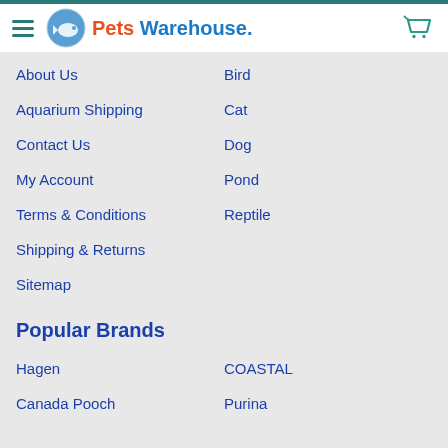Pets Warehouse
About Us
Bird
Aquarium Shipping
Cat
Contact Us
Dog
My Account
Pond
Terms & Conditions
Reptile
Shipping & Returns
Sitemap
Popular Brands
Hagen
COASTAL
Canada Pooch
Purina